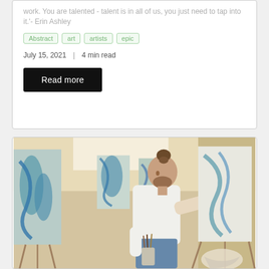work. You are talented - talent is in all of us, you just need to tap into it.'- Erin Ashley
Abstract
art
artists
epic
July 15, 2021  |  4 min read
Read more
[Figure (photo): A bearded male artist with hair in a bun, wearing a white t-shirt and jeans, painting on a large canvas on an easel in an art studio surrounded by other paintings on easels featuring blue and teal abstract art.]